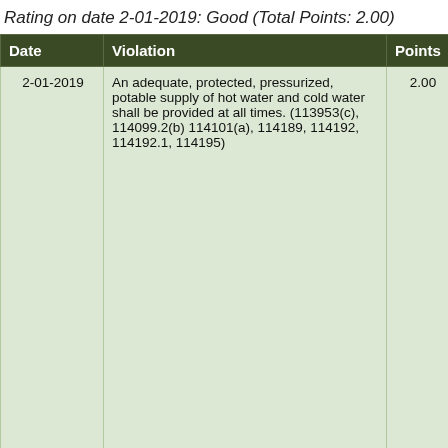Rating on date 2-01-2019: Good (Total Points: 2.00)
| Date | Violation | Points | Correction |
| --- | --- | --- | --- |
| 2-01-2019 | An adequate, protected, pressurized, potable supply of hot water and cold water shall be provided at all times. (113953(c), 114099.2(b) 114101(a), 114189, 114192, 114192.1, 114195) | 2.00 | Provide h... pressure ... to each si... water sup... system ap... officer or ... adequate ... potable s... least 120'... be provid...

Handwas... equipped... under pre... 15 secon... water pro... adjustable... temperatu... at least 1... than 108°... facilities s... number a... so as to b... |